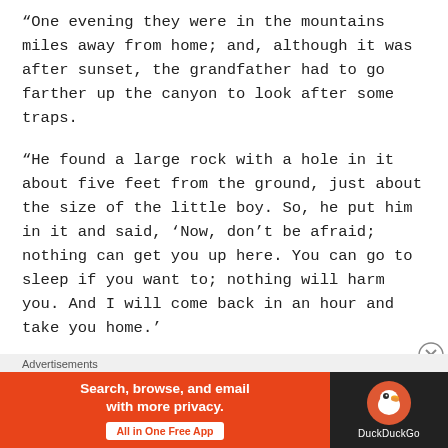“One evening they were in the mountains miles away from home; and, although it was after sunset, the grandfather had to go farther up the canyon to look after some traps.
“He found a large rock with a hole in it about five feet from the ground, just about the size of the little boy. So, he put him in it and said, ‘Now, don’t be afraid; nothing can get you up here. You can go to sleep if you want to; nothing will harm you. And I will come back in an hour and take you home.’
“The little boy lay there. The night closed in, dark, the
Advertisements
[Figure (screenshot): DuckDuckGo advertisement banner: orange left panel with text 'Search, browse, and email with more privacy. All in One Free App' and dark right panel with DuckDuckGo logo and name.]